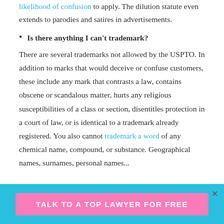likelihood of confusion to apply. The dilution statute even extends to parodies and satires in advertisements.
Is there anything I can't trademark?
There are several trademarks not allowed by the USPTO. In addition to marks that would deceive or confuse customers, these include any mark that contrasts a law, contains obscene or scandalous matter, hurts any religious susceptibilities of a class or section, disentitles protection in a court of law, or is identical to a trademark already registered. You also cannot trademark a word of any chemical name, compound, or substance. Geographical names, surnames, personal names...